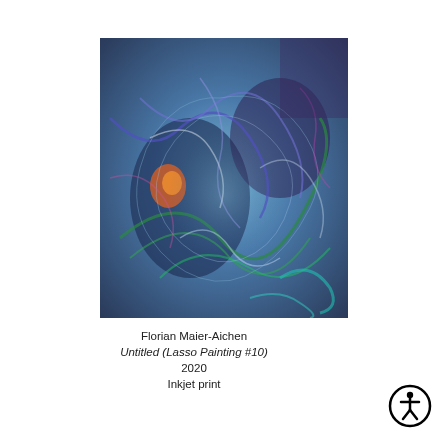[Figure (photo): Abstract colorful painting with swirling brushstrokes in blues, greens, purples, and accents of orange and red — Untitled (Lasso Painting #10) by Florian Maier-Aichen, 2020, inkjet print]
Florian Maier-Aichen
Untitled (Lasso Painting #10)
2020
Inkjet print
[Figure (illustration): Accessibility icon: circular black border with white human figure (universal accessibility symbol)]